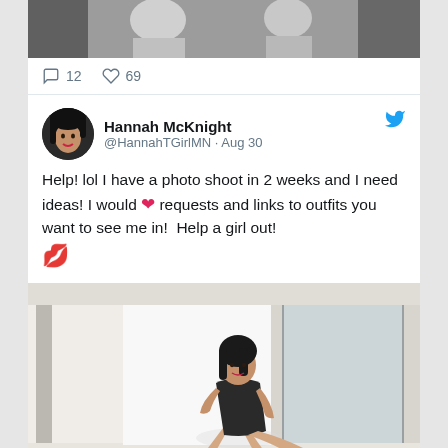[Figure (photo): Top portion of a black and white photo, cropped at top]
12   69
[Figure (photo): Twitter profile avatar of Hannah McKnight - woman with dark hair]
Hannah McKnight @HannahTGirlMN · Aug 30
Help! lol I have a photo shoot in 2 weeks and I need ideas! I would ❤ requests and links to outfits you want to see me in!  Help a girl out! 💋
[Figure (photo): Photo of Hannah McKnight in a black dress seated in a bright modern interior space]